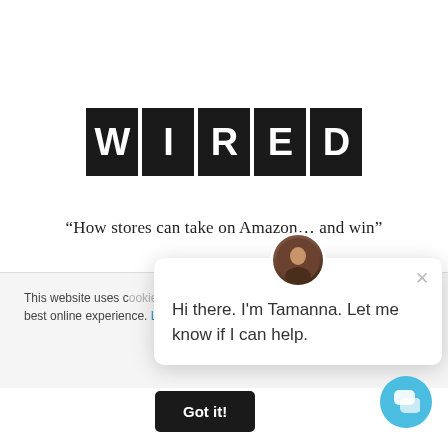[Figure (logo): WIRED magazine logo — five black square tiles each containing a white letter: W, I, R, E, D]
“How stores can take on Amazon… and win”
[Figure (screenshot): Chat popup widget with avatar of Tamanna, close button (x), and message: Hi there. I'm Tamanna. Let me know if I can help.]
This website uses c[ookies to give you the] best online experience. Learn more
[Figure (other): Black 'Got it!' button for cookie consent]
[Figure (other): Blue circular chat bubble button in lower right corner]